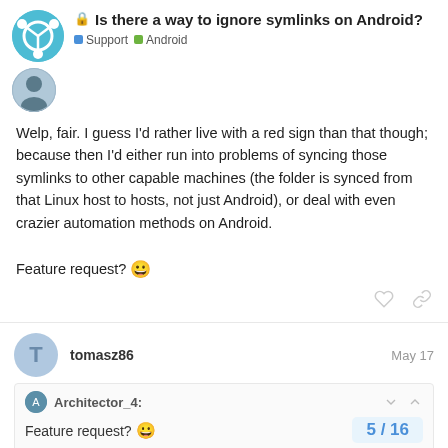Is there a way to ignore symlinks on Android?
Support  Android
Welp, fair. I guess I'd rather live with a red sign than that though; because then I'd either run into problems of syncing those symlinks to other capable machines (the folder is synced from that Linux host to hosts, not just Android), or deal with even crazier automation methods on Android.

Feature request? 😀
tomasz86  May 17
Architector_4:
Feature request? 😀
5 / 16